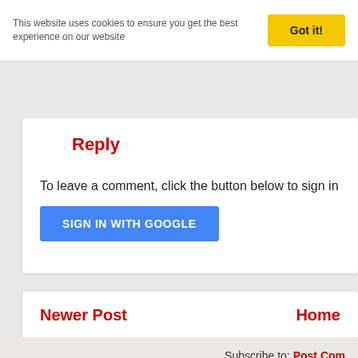This website uses cookies to ensure you get the best experience on our website
Got it!
Reply
To leave a comment, click the button below to sign in with
SIGN IN WITH GOOGLE
Newer Post
Home
Subscribe to: Post Com